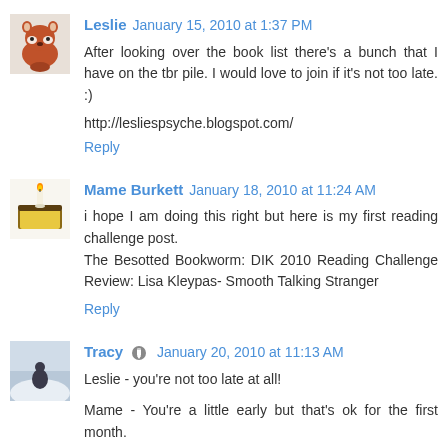Leslie  January 15, 2010 at 1:37 PM
After looking over the book list there's a bunch that I have on the tbr pile. I would love to join if it's not too late. :)
http://lesliespsyche.blogspot.com/
Reply
Mame Burkett  January 18, 2010 at 11:24 AM
i hope I am doing this right but here is my first reading challenge post.
The Besotted Bookworm: DIK 2010 Reading Challenge Review: Lisa Kleypas- Smooth Talking Stranger
Reply
Tracy  January 20, 2010 at 11:13 AM
Leslie - you're not too late at all!
Mame - You're a little early but that's ok for the first month.